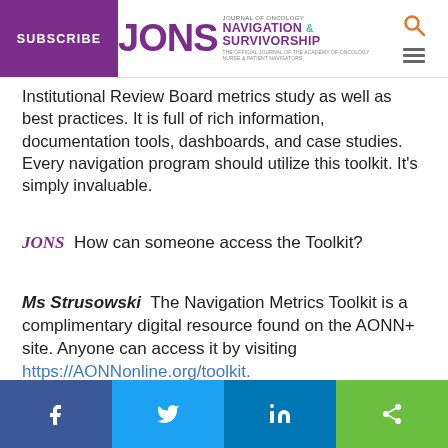SUBSCRIBE | JONS Journal of Oncology Navigation & Survivorship
Institutional Review Board metrics study as well as best practices. It is full of rich information, documentation tools, dashboards, and case studies. Every navigation program should utilize this toolkit. It’s simply invaluable.
JONS  How can someone access the Toolkit?
Ms Strusowski  The Navigation Metrics Toolkit is a complimentary digital resource found on the AONN+ site. Anyone can access it by visiting https://AONNonline.org/toolkit.
JONS  Thank you for your time, and congratulations on this work!
Social share bar: Facebook, Twitter, LinkedIn, Share